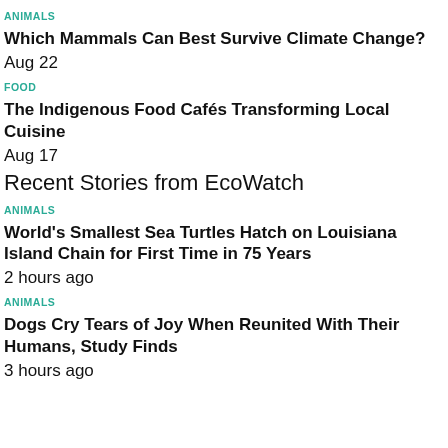ANIMALS
Which Mammals Can Best Survive Climate Change?
Aug 22
FOOD
The Indigenous Food Cafés Transforming Local Cuisine
Aug 17
Recent Stories from EcoWatch
ANIMALS
World's Smallest Sea Turtles Hatch on Louisiana Island Chain for First Time in 75 Years
2 hours ago
ANIMALS
Dogs Cry Tears of Joy When Reunited With Their Humans, Study Finds
3 hours ago